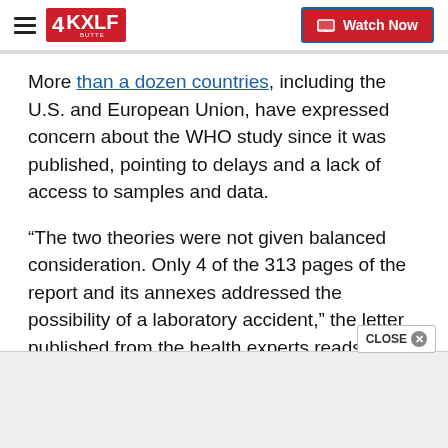4KXLF BUTTE — Watch Now
More than a dozen countries, including the U.S. and European Union, have expressed concern about the WHO study since it was published, pointing to delays and a lack of access to samples and data.
“The two theories were not given balanced consideration. Only 4 of the 313 pages of the report and its annexes addressed the possibility of a laboratory accident,” the letter published from the health experts reads.
“Notably, WHO Director General Tedros Ghebrey